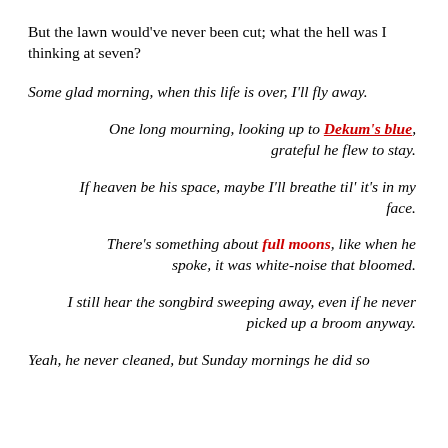But the lawn would've never been cut; what the hell was I thinking at seven?
Some glad morning, when this life is over, I'll fly away.
One long mourning, looking up to Dekum's blue, grateful he flew to stay.
If heaven be his space, maybe I'll breathe til' it's in my face.
There's something about full moons, like when he spoke, it was white-noise that bloomed.
I still hear the songbird sweeping away, even if he never picked up a broom anyway.
Yeah, he never cleaned, but Sunday mornings he did so